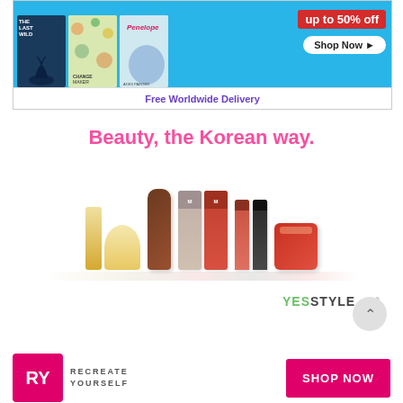[Figure (infographic): Book store advertisement banner showing three books (The Last Wild, and two others) on a blue background with 'up to 50% off' red banner and 'Shop Now' button, plus 'Free Worldwide Delivery' text below]
Beauty, the Korean way.
[Figure (photo): YesStyle.com advertisement showing various Korean beauty products including skincare bottles, a brown tube, BB cream tubes, nail polish bottles, and a red jar, with YesStyle.com logo below]
[Figure (infographic): RY (Recreate Yourself) advertisement with pink/magenta logo box showing 'RY', text 'RECREATE YOURSELF' and a pink 'SHOP NOW' button]